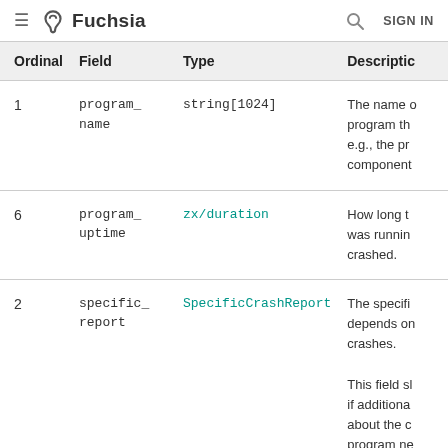Fuchsia — SIGN IN
| Ordinal | Field | Type | Description |
| --- | --- | --- | --- |
| 1 | program_
name | string[1024] | The name o program th e.g., the pr component |
| 6 | program_
uptime | zx/duration | How long t was runnin crashed. |
| 2 | specific_
report | SpecificCrashReport | The specifi depends on crashes.

This field sh if additiona about the c program ne |